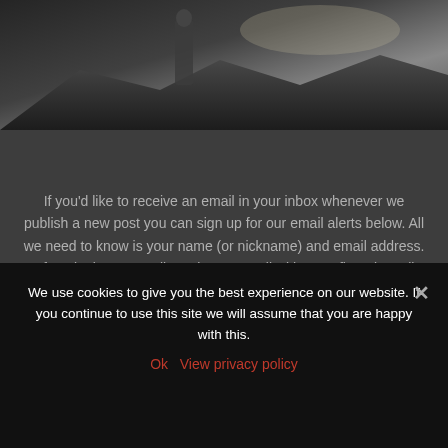[Figure (photo): Dark moody photo of a figure standing on rocky terrain with dramatic lighting]
If you'd like to receive an email in your inbox whenever we publish a new post you can sign up for our email alerts below. All we need to know is your name (or nickname) and email address. After signing up you'll receive an email with a confirmation, all you...
Read More...
We use cookies to give you the best experience on our website. If you continue to use this site we will assume that you are happy with this.
Ok   View privacy policy